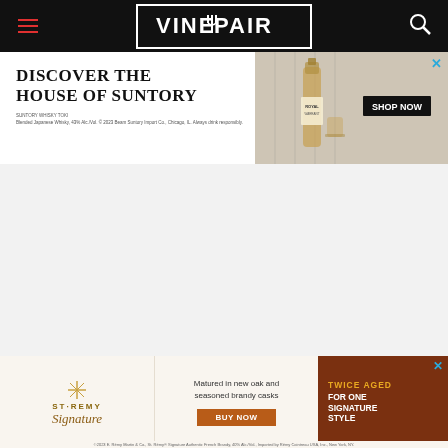VinePair
[Figure (screenshot): Advertisement banner for House of Suntory with text 'DISCOVER THE HOUSE OF SUNTORY' and a SHOP NOW button, showing whisky bottle]
[Figure (screenshot): Advertisement banner for St-Remy Signature brandy with 'Matured in new oak and seasoned brandy casks', BUY NOW button, and 'TWICE AGED FOR ONE SIGNATURE STYLE' text]